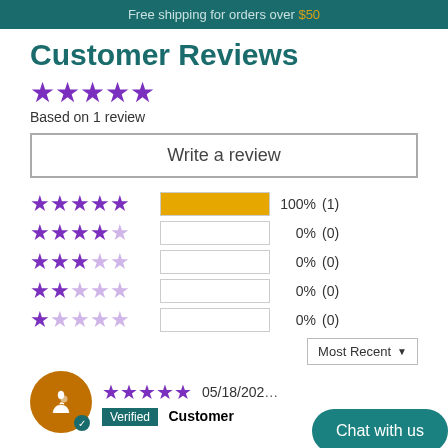Free shipping for orders over $50
Customer Reviews
★★★★★ Based on 1 review
Write a review
★★★★★ 100% (1)
★★★★☆ 0% (0)
★★★☆☆ 0% (0)
★★☆☆☆ 0% (0)
★☆☆☆☆ 0% (0)
Most Recent ▼
★★★★★ 05/18/202... Verified Customer
Chat with us